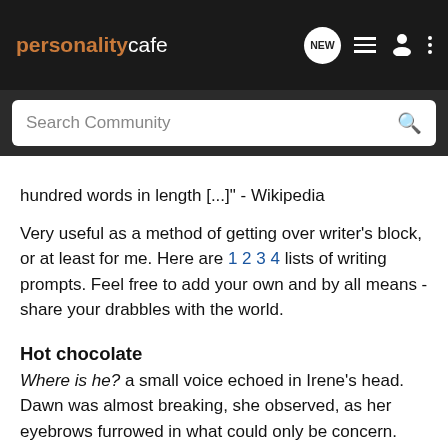personality cafe [nav icons: NEW, list, user, more]
Search Community
hundred words in length [...]" - Wikipedia
Very useful as a method of getting over writer's block, or at least for me. Here are 1 2 3 4 lists of writing prompts. Feel free to add your own and by all means - share your drabbles with the world.
Hot chocolate
Where is he? a small voice echoed in Irene's head. Dawn was almost breaking, she observed, as her eyebrows furrowed in what could only be concern. She instinctively grabbed hold of her mug of hot chocolate and let the soothing warmth spread through her fingers. Pulling up the blanket, she got into a more comfortable position on the sofa and resumed staring at the